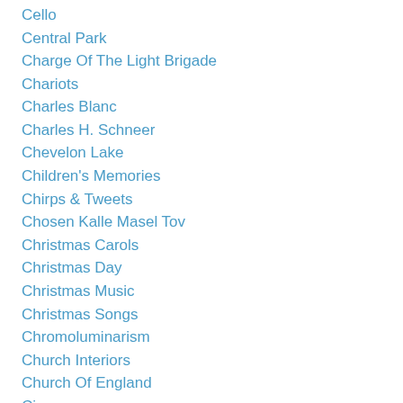Cello
Central Park
Charge Of The Light Brigade
Chariots
Charles Blanc
Charles H. Schneer
Chevelon Lake
Children's Memories
Chirps & Tweets
Chosen Kalle Masel Tov
Christmas Carols
Christmas Day
Christmas Music
Christmas Songs
Chromoluminarism
Church Interiors
Church Of England
Cinema
Cinematography
Civil War Era
Civil War History